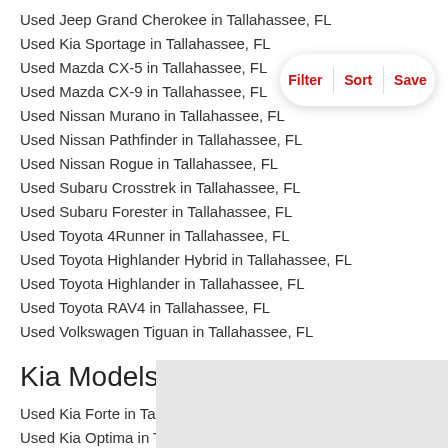Used Jeep Grand Cherokee in Tallahassee, FL
Used Kia Sportage in Tallahassee, FL
Used Mazda CX-5 in Tallahassee, FL
Used Mazda CX-9 in Tallahassee, FL
Used Nissan Murano in Tallahassee, FL
Used Nissan Pathfinder in Tallahassee, FL
Used Nissan Rogue in Tallahassee, FL
Used Subaru Crosstrek in Tallahassee, FL
Used Subaru Forester in Tallahassee, FL
Used Toyota 4Runner in Tallahassee, FL
Used Toyota Highlander Hybrid in Tallahassee, FL
Used Toyota Highlander in Tallahassee, FL
Used Toyota RAV4 in Tallahassee, FL
Used Volkswagen Tiguan in Tallahassee, FL
Kia Models in Florida
Used Kia Forte in Tallahassee, FL
Used Kia Optima in Tallahassee, FL
Used Kia Soul in Tallahassee, FL
[Figure (other): Gray box placeholder at bottom right of page]